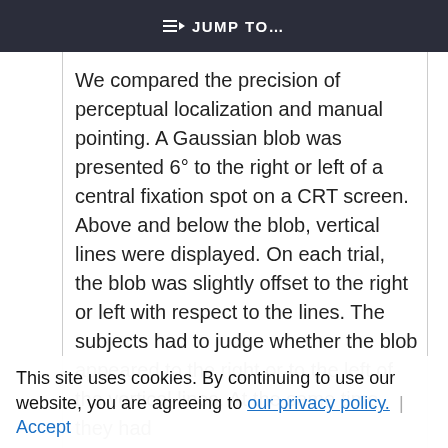⇒ JUMP TO…
We compared the precision of perceptual localization and manual pointing. A Gaussian blob was presented 6° to the right or left of a central fixation spot on a CRT screen. Above and below the blob, vertical lines were displayed. On each trial, the blob was slightly offset to the right or left with respect to the lines. The subjects had to judge whether the blob appeared to the right or to the left of the vertical lines. At the same time, they had
to point to the center of the blob with their index finger. Precision for perceived position was significantly better than precision for pointing. Performance in these two tasks
This site uses cookies. By continuing to use our website, you are agreeing to our privacy policy. Accept